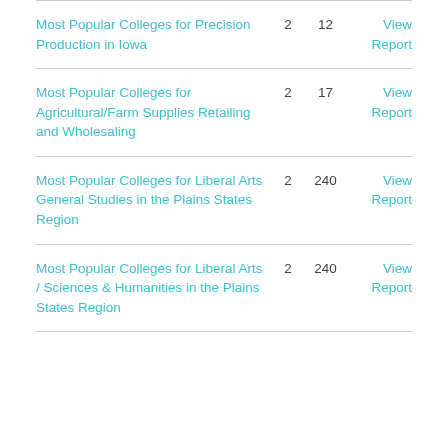| Report Name | Colleges | Students | Action |
| --- | --- | --- | --- |
| Most Popular Colleges for Precision Production in Iowa | 2 | 12 | View Report |
| Most Popular Colleges for Agricultural/Farm Supplies Retailing and Wholesaling | 2 | 17 | View Report |
| Most Popular Colleges for Liberal Arts General Studies in the Plains States Region | 2 | 240 | View Report |
| Most Popular Colleges for Liberal Arts / Sciences & Humanities in the Plains States Region | 2 | 240 | View Report |